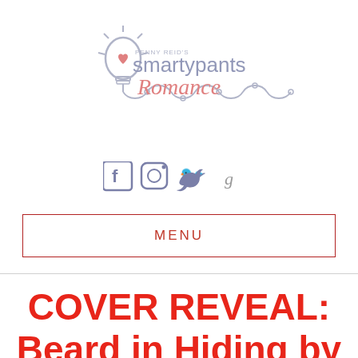[Figure (logo): Penny Reid's Smartypants Romance logo with lightbulb illustration and cursive/sans-serif text, connected by a decorative wire/string graphic]
[Figure (infographic): Social media icons: Facebook (f), Instagram (camera), Twitter (bird), Goodreads (g) in muted purple/grey colors]
MENU
COVER REVEAL: Beard in Hiding by